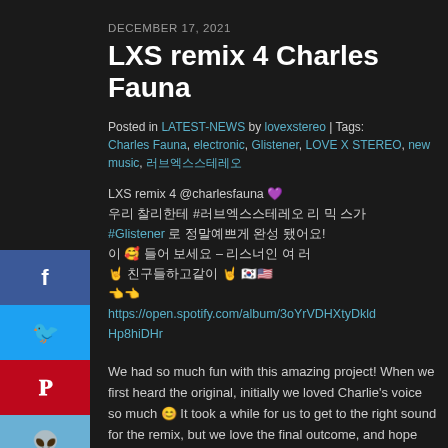DECEMBER 17, 2021
LXS remix 4 Charles Fauna
Posted in LATEST-NEWS by lovexstereo | Tags: Charles Fauna, electronic, Glistener, LOVE X STEREO, new music, 러브엑스스테레오
LXS remix 4 @charlesfauna 💜
우리 찰리한테 #러브엑스스테레오 리 믹 스가
#Glistener 로 정말예쁘게 완성 됐어요!
이 🥰 들어 보세요 – 리스너인 여 러
 🤘 친구들하고같이 🤘 🇰🇷🇺🇸
👈👈
https://open.spotify.com/album/3oYrVDHXtyDkldHp8hiDHr
We had so much fun with this amazing project! When we first heard the original, initially we loved Charlie's voice so much 😊 It took a while for us to get to the right sound for the remix, but we love the final outcome, and hope you guys love it too 🐦